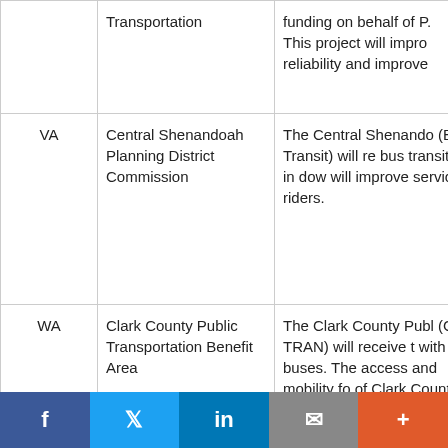| State | Organization | Description |
| --- | --- | --- |
|  | Transportation | funding on behalf of P. This project will impro reliability and improve |
| VA | Central Shenandoah Planning District Commission | The Central Shenando (BRITE Transit) will re bus transit hub in dow will improve service re riders. |
| WA | Clark County Public Transportation Benefit Area | The Clark County Publ (C-TRAN) will receive t with newer buses. The access and mobility fo of Clark County in Sout |
| WA | Kitsap Transit | Kitsap Transit will rece electric buses to repla |
[Figure (other): Social media sharing bar with Facebook, Twitter, LinkedIn, Email, and More buttons]